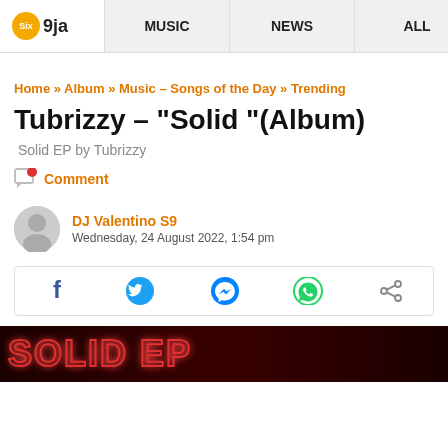Six9ja | MUSIC | NEWS | ALL
Home » Album » Music – Songs of the Day » Trending
Tubrizzy – "Solid "(Album)
Solid EP by Tubrizzy
Comment
DJ Valentino S9
Wednesday, 24 August 2022, 1:54 pm
[Figure (infographic): Social share bar with Facebook, Twitter, Messenger, WhatsApp, and generic share icons]
[Figure (photo): Dark background image with neon red outlined text at the bottom of the page]